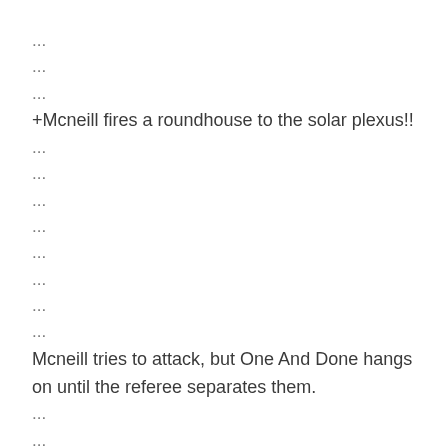...
...
...
+Mcneill fires a roundhouse to the solar plexus!!
...
...
...
...
...
...
...
...
Mcneill tries to attack, but One And Done hangs on until the referee separates them.
...
...
Mcneill tries to attack, but One And Done hangs on until the referee separates them.